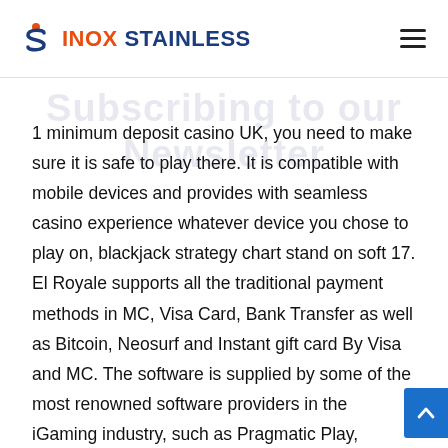INOX STAINLESS
1 minimum deposit casino UK, you need to make sure it is safe to play there. It is compatible with mobile devices and provides with seamless casino experience whatever device you chose to play on, blackjack strategy chart stand on soft 17. El Royale supports all the traditional payment methods in MC, Visa Card, Bank Transfer as well as Bitcoin, Neosurf and Instant gift card By Visa and MC. The software is supplied by some of the most renowned software providers in the iGaming industry, such as Pragmatic Play, Microgaming, NetEnt, Yggdrasil, and Novomatic, to name a few, blackjack strategy soft vs hard. In addition to the standard 180 Spins slots, one can